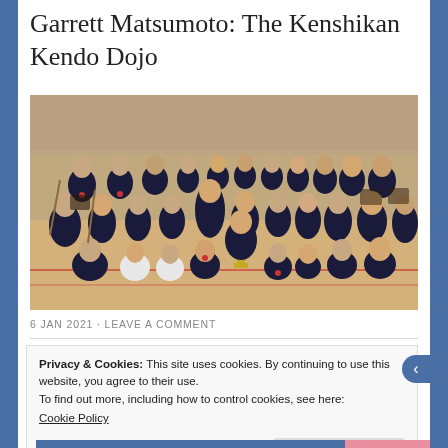Garrett Matsumoto: The Kenshikan Kendo Dojo
[Figure (photo): Group photo of Kendo dojo members in traditional kendo uniforms (hakama) on a gymnasium floor, holding trophies, plaques and awards after a tournament.]
6 JAN 2021  -  LEAVE A COMMENT
Privacy & Cookies: This site uses cookies. By continuing to use this website, you agree to their use.
To find out more, including how to control cookies, see here:
Cookie Policy
Close and accept